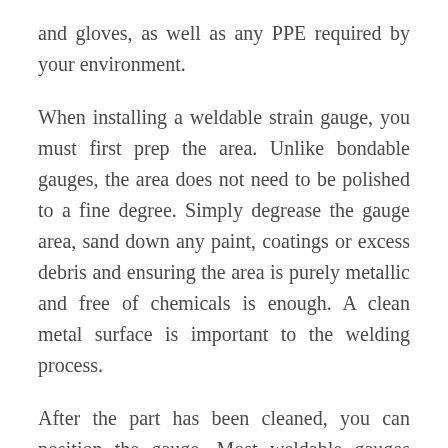and gloves, as well as any PPE required by your environment.
When installing a weldable strain gauge, you must first prep the area. Unlike bondable gauges, the area does not need to be polished to a fine degree. Simply degrease the gauge area, sand down any paint, coatings or excess debris and ensuring the area is purely metallic and free of chemicals is enough. A clean metal surface is important to the welding process.
After the part has been cleaned, you can position the gauge. Most weldable gauges come marked so you can align the grid properly. When the gauge is properly aligned,